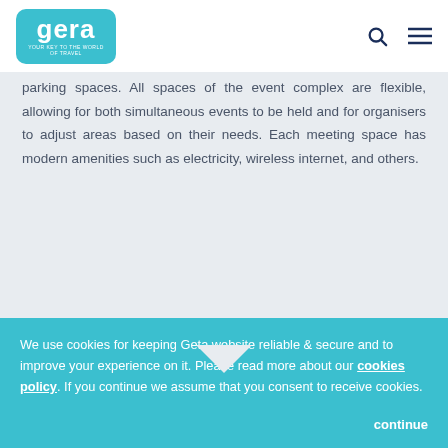Geta — Your Key to the World of Travel (logo and navigation)
parking spaces. All spaces of the event complex are flexible, allowing for both simultaneous events to be held and for organisers to adjust areas based on their needs. Each meeting space has modern amenities such as electricity, wireless internet, and others.
How to get to Fuar İzmir
We use cookies for keeping Geta website reliable & secure and to improve your experience on it. Please read more about our cookies policy. If you continue we assume that you consent to receive cookies. continue